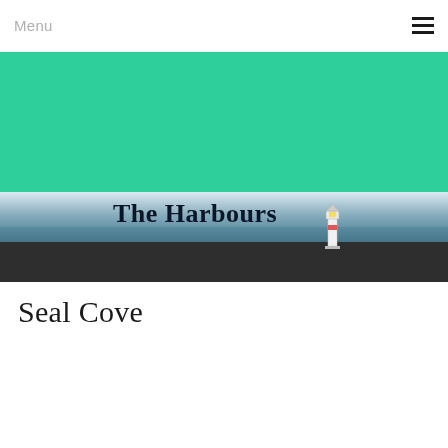Menu
[Figure (photo): Website header banner showing a teal green band at top, a sea horizon with pale sky and dark water in the middle, and a dark charcoal band at the bottom. The text 'The Harbours' overlays the sea band, with a small lighthouse visible to the right.]
The Harbours
Seal Cove